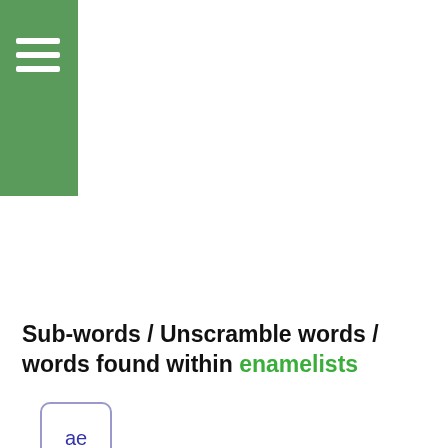[Figure (other): Green sidebar with hamburger menu icon (three white horizontal lines)]
Sub-words / Unscramble words / words found within enamelists
ae
ai